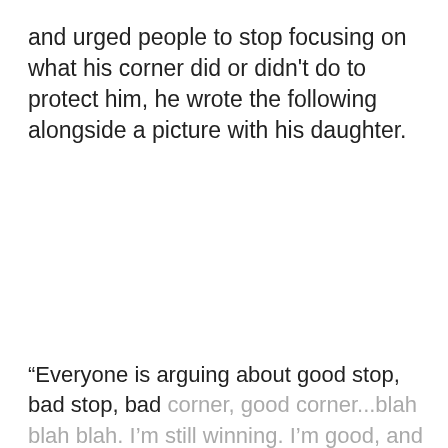and urged people to stop focusing on what his corner did or didn't do to protect him, he wrote the following alongside a picture with his daughter.
“Everyone is arguing about good stop, bad stop, bad corner, good corner...blah blah blah. I’m still winning. I’m good, and I’m exactly where i need to be, doing